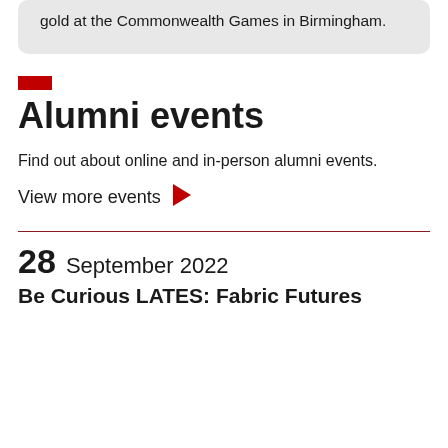England. She hopes to guide Team England to gold at the Commonwealth Games in Birmingham.
Alumni events
Find out about online and in-person alumni events.
View more events ›
28 September 2022
Be Curious LATES: Fabric Futures